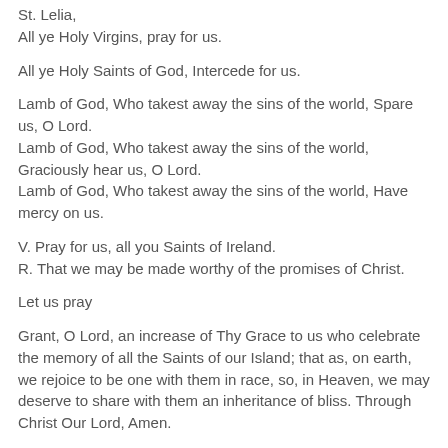St. Lelia,
All ye Holy Virgins, pray for us.
All ye Holy Saints of God, Intercede for us.
Lamb of God, Who takest away the sins of the world, Spare us, O Lord.
Lamb of God, Who takest away the sins of the world, Graciously hear us, O Lord.
Lamb of God, Who takest away the sins of the world, Have mercy on us.
V. Pray for us, all you Saints of Ireland.
R. That we may be made worthy of the promises of Christ.
Let us pray
Grant, O Lord, an increase of Thy Grace to us who celebrate the memory of all the Saints of our Island; that as, on earth, we rejoice to be one with them in race, so, in Heaven, we may deserve to share with them an inheritance of bliss. Through Christ Our Lord, Amen.